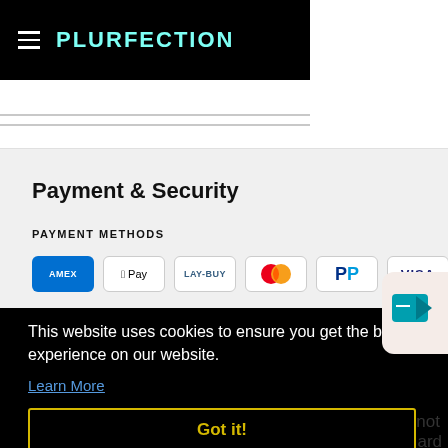PLURFECTION
Payment & Security
PAYMENT METHODS
[Figure (other): Payment method icons: AMEX, Apple Pay, LAY-BUY, Mastercard, PayPal, VISA]
This website uses cookies to ensure you get the best experience on our website.
Learn More
Got it!